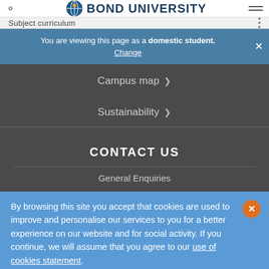BOND UNIVERSITY
Subject curriculum
You are viewing this page as a domestic student. Change
Campus map
Sustainability
CONTACT US
General Enquiries
By browsing this site you accept that cookies are used to improve and personalise our services to you for a better experience on our website and for social activity. If you continue, we will assume that you agree to our use of cookies statement.